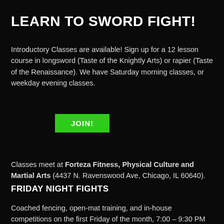LEARN TO SWORD FIGHT!
Introductory Classes are available! Sign up for a 12 lesson course in longsword (Taste of the Knightly Arts) or rapier (Taste of the Renaissance). We have Saturday morning classes, or weekday evening classes.
JOIN!
Classes meet at Forteza Fitness, Physical Culture and Martial Arts (4437 N. Ravenswood Ave, Chicago, IL 60640).
FRIDAY NIGHT FIGHTS
Coached fencing, open-mat training, and in-house competitions on the first Friday of the month, 7:00 – 9:30 PM